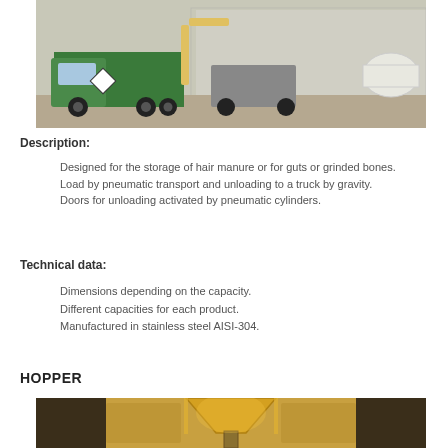[Figure (photo): A green/white truck with pneumatic transport equipment parked near an industrial building with chain-link fencing and a white tank in background.]
Description:
Designed for the storage of hair manure or for guts or grinded bones.
Load by pneumatic transport and unloading to a truck by gravity.
Doors for unloading activated by pneumatic cylinders.
Technical data:
Dimensions depending on the capacity.
Different capacities for each product.
Manufactured in stainless steel AISI-304.
HOPPER
[Figure (photo): Interior industrial equipment showing a hopper or funnel structure with metallic piping, illuminated with warm yellow/orange lighting.]